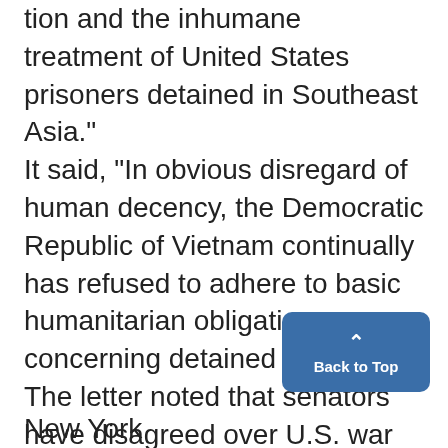United States personnel missing in action and the inhumane treatment of United States prisoners detained in Southeast Asia." It said, "In obvious disregard of human decency, the Democratic Republic of Vietnam continually has refused to adhere to basic humanitarian obligations concerning detained prisoners." The letter noted that senators have disagreed over U.S. war policies but are united in insisting on humane treatment of prisoners.
New York